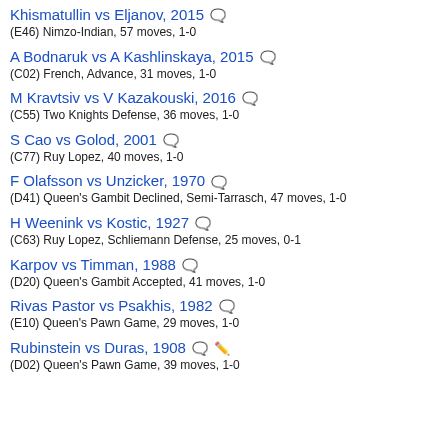Khismatullin vs Eljanov, 2015
(E46) Nimzo-Indian, 57 moves, 1-0
A Bodnaruk vs A Kashlinskaya, 2015
(C02) French, Advance, 31 moves, 1-0
M Kravtsiv vs V Kazakouski, 2016
(C55) Two Knights Defense, 36 moves, 1-0
S Cao vs Golod, 2001
(C77) Ruy Lopez, 40 moves, 1-0
F Olafsson vs Unzicker, 1970
(D41) Queen's Gambit Declined, Semi-Tarrasch, 47 moves, 1-0
H Weenink vs Kostic, 1927
(C63) Ruy Lopez, Schliemann Defense, 25 moves, 0-1
Karpov vs Timman, 1988
(D20) Queen's Gambit Accepted, 41 moves, 1-0
Rivas Pastor vs Psakhis, 1982
(E10) Queen's Pawn Game, 29 moves, 1-0
Rubinstein vs Duras, 1908
(D02) Queen's Pawn Game, 39 moves, 1-0